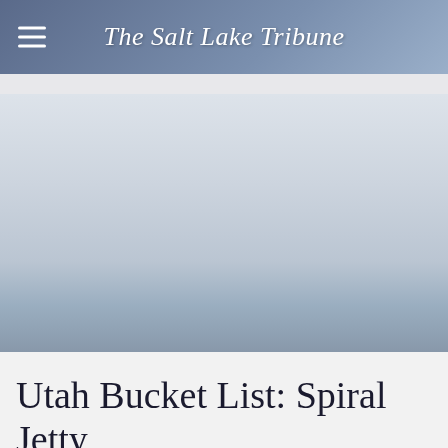The Salt Lake Tribune
[Figure (photo): Large image placeholder area for article photo, grayish-blue gradient background]
Utah Bucket List: Spiral Jetty